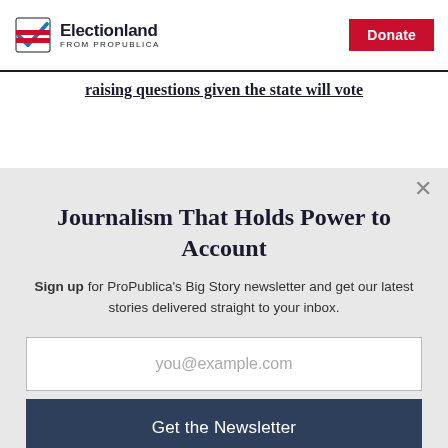Electionland from ProPublica | Donate
raising questions given the state will vote
Journalism That Holds Power to Account
Sign up for ProPublica's Big Story newsletter and get our latest stories delivered straight to your inbox.
you@example.com
Get the Newsletter
No thanks, I'm all set
This site is protected by reCAPTCHA and the Google Privacy Policy and Terms of Service apply.